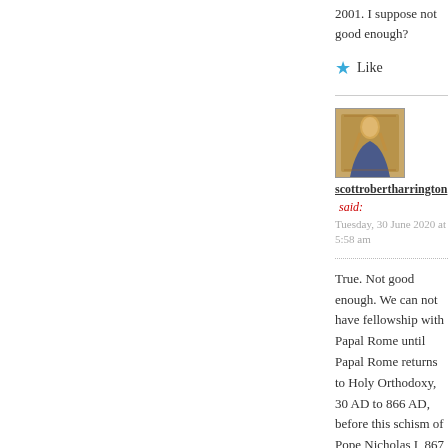2001. I suppose not good enough?
★ Like
[Figure (photo): Avatar image of a medieval-style illustration of a figure, brownish tones]
scottrobertharrington said: Tuesday, 30 June 2020 at 5:58 am
True. Not good enough. We can not have fellowship with Papal Rome until Papal Rome returns to Holy Orthodoxy, 30 AD to 866 AD, before this schism of Pope Nicholas I, 867 AD. We cannot have